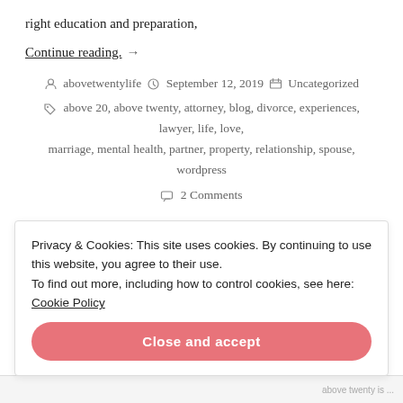right education and preparation,
Continue reading. →
abovetwentylife   September 12, 2019   Uncategorized
above 20, above twenty, attorney, blog, divorce, experiences, lawyer, life, love, marriage, mental health, partner, property, relationship, spouse, wordpress
2 Comments
Privacy & Cookies: This site uses cookies. By continuing to use this website, you agree to their use. To find out more, including how to control cookies, see here: Cookie Policy
Close and accept